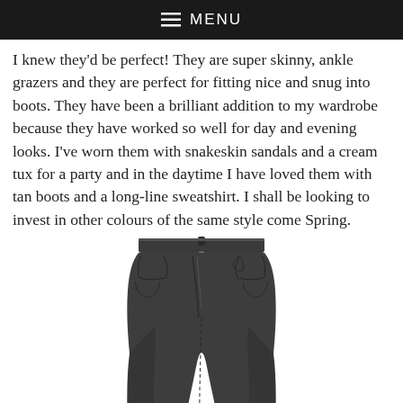≡ MENU
I knew they'd be perfect! They are super skinny, ankle grazers and they are perfect for fitting nice and snug into boots. They have been a brilliant addition to my wardrobe because they have worked so well for day and evening looks. I've worn them with snakeskin sandals and a cream tux for a party and in the daytime I have loved them with tan boots and a long-line sweatshirt. I shall be looking to invest in other colours of the same style come Spring.
[Figure (photo): A pair of dark charcoal/black skinny ankle grazer jeans displayed against a white background, showing from the waist down to just below the knee, with a button closure and standard five-pocket styling.]